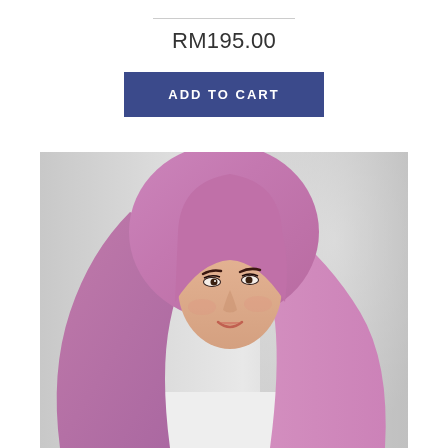RM195.00
ADD TO CART
[Figure (photo): A woman wearing a pink/mauve hijab, smiling, photographed against a light grey/white background. She is wearing a white top. The hijab is a large flowing chiffon-style scarf in pink/orchid color.]